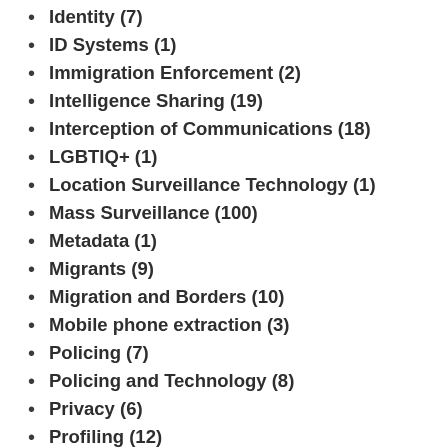Identity (7)
ID Systems (1)
Immigration Enforcement (2)
Intelligence Sharing (19)
Interception of Communications (18)
LGBTIQ+ (1)
Location Surveillance Technology (1)
Mass Surveillance (100)
Metadata (1)
Migrants (9)
Migration and Borders (10)
Mobile phone extraction (3)
Policing (7)
Policing and Technology (8)
Privacy (6)
Profiling (12)
Protecting Civic Spaces (3)
Protest Surveillance (1)